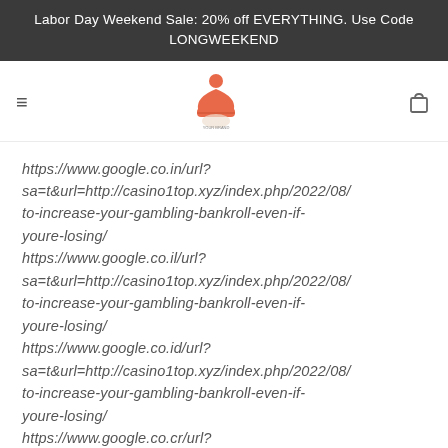Labor Day Weekend Sale: 20% off EVERYTHING. Use Code LONGWEEKEND
[Figure (logo): Orange beanie/hat logo with text underneath, centered in navigation bar]
https://www.google.co.in/url?sa=t&url=http://casino1top.xyz/index.php/2022/08/to-increase-your-gambling-bankroll-even-if-youre-losing/ https://www.google.co.il/url?sa=t&url=http://casino1top.xyz/index.php/2022/08/to-increase-your-gambling-bankroll-even-if-youre-losing/ https://www.google.co.id/url?sa=t&url=http://casino1top.xyz/index.php/2022/08/to-increase-your-gambling-bankroll-even-if-youre-losing/ https://www.google.co.cr/url?